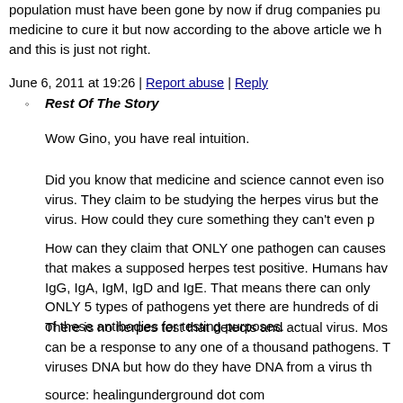population must have been gone by now if drug companies pu medicine to cure it but now according to the above article we h and this is just not right.
June 6, 2011 at 19:26 | Report abuse | Reply
Rest Of The Story
Wow Gino, you have real intuition.
Did you know that medicine and science cannot even iso virus. They claim to be studying the herpes virus but the virus. How could they cure something they can't even p
How can they claim that ONLY one pathogen can causes that makes a supposed herpes test positive. Humans hav IgG, IgA, IgM, IgD and IgE. That means there can only ONLY 5 types of pathogens yet there are hundreds of di of these antibodies for testing purposes.
There is no herpes test that detects and actual virus. Mos can be a response to any one of a thousand pathogens. T viruses DNA but how do they have DNA from a virus th
source: healingunderground dot com
June 6, 2011 at 20:22 | Report abuse |